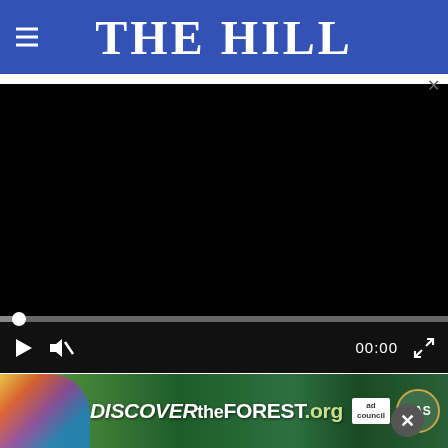THE HILL
[Figure (screenshot): Embedded video player with black screen, progress bar, and controls showing play button, mute button, timestamp 00:00, and fullscreen button]
the mess it's caused, and to do better—better for people who want to go (or go back to college,
[Figure (photo): DISCOVERtheFOREST.org advertisement banner with forest imagery, Ad Council logo, and US Forest Service shield logo]